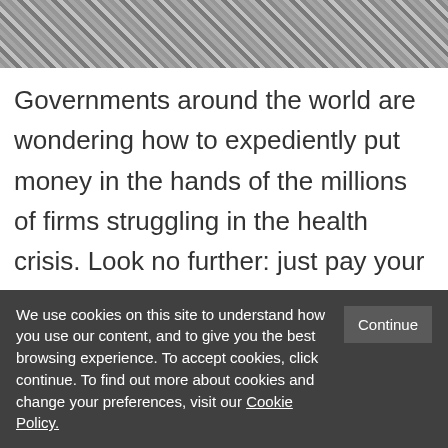[Figure (photo): Black and white close-up photo of currency/money bills]
Governments around the world are wondering how to expediently put money in the hands of the millions of firms struggling in the health crisis. Look no further: just pay your bills on time. If governments paid all receipts due to their contractors within 45 days, some $4.65 trillion in fresh liquidity would enter the private sector. To put this
We use cookies on this site to understand how you use our content, and to give you the best browsing experience. To accept cookies, click continue. To find out more about cookies and change your preferences, visit our Cookie Policy.